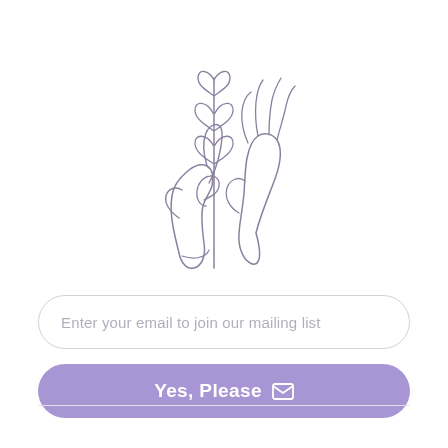[Figure (illustration): Line art illustration of two hands, one holding a small plant/flower stem with heart-shaped leaves, the other hand open beside it. Drawn in a delicate minimalist style in muted purple-gray tones.]
Enter your email to join our mailing list
Yes, Please ✉